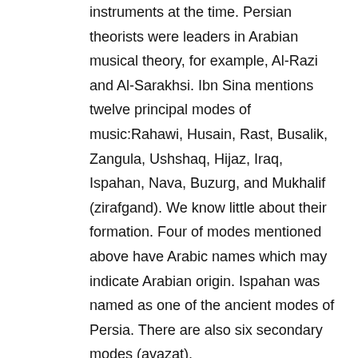instruments at the time. Persian theorists were leaders in Arabian musical theory, for example, Al-Razi and Al-Sarakhsi. Ibn Sina mentions twelve principal modes of music:Rahawi, Husain, Rast, Busalik, Zangula, Ushshaq, Hijaz, Iraq, Ispahan, Nava, Buzurg, and Mukhalif (zirafgand). We know little about their formation. Four of modes mentioned above have Arabic names which may indicate Arabian origin. Ispahan was named as one of the ancient modes of Persia. There are also six secondary modes (avazat). During Ghuri rulers and Khwarizmi (12th -13 th century) music grew. Two notable theorists of this era were Fakhr al-Din al Razi and nasir al-Din al Tusi. Another Persian theorist was Qutb al Din al-Shirazi who was famous for Pearl of